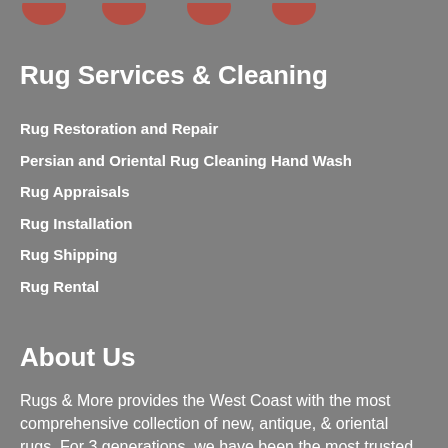[Figure (illustration): Partial decorative icons/logo elements visible at top of page, cut off]
Rug Services & Cleaning
Rug Restoration and Repair
Persian and Oriental Rug Cleaning Hand Wash
Rug Appraisals
Rug Installation
Rug Shipping
Rug Rental
About Us
Rugs & More provides the West Coast with the most comprehensive collection of new, antique, & oriental rugs. For 3 generations, we have been the most trusted and reliable source for rugs and home decor. Voted best of Santa